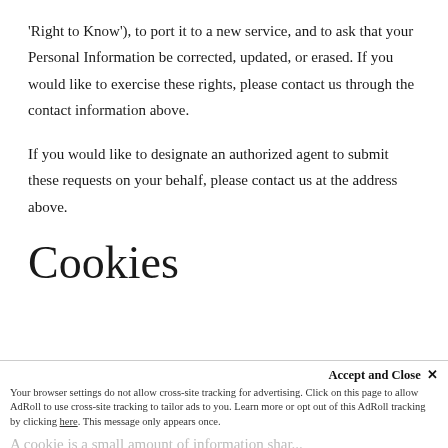'Right to Know'), to port it to a new service, and to ask that your Personal Information be corrected, updated, or erased. If you would like to exercise these rights, please contact us through the contact information above.
If you would like to designate an authorized agent to submit these requests on your behalf, please contact us at the address above.
Cookies
A cookie is a small amount of information that's downloaded to your computer or device when you visit our Site. We use a number of different cookies, including functional, performance, advertising, and social media or content cookies.
Accept and Close ×
Your browser settings do not allow cross-site tracking for advertising. Click on this page to allow AdRoll to use cross-site tracking to tailor ads to you. Learn more or opt out of this AdRoll tracking by clicking here. This message only appears once.